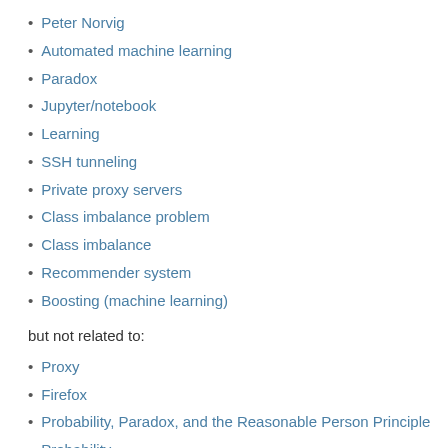Peter Norvig
Automated machine learning
Paradox
Jupyter/notebook
Learning
SSH tunneling
Private proxy servers
Class imbalance problem
Class imbalance
Recommender system
Boosting (machine learning)
but not related to:
Proxy
Firefox
Probability, Paradox, and the Reasonable Person Principle
Probability
Positive matches